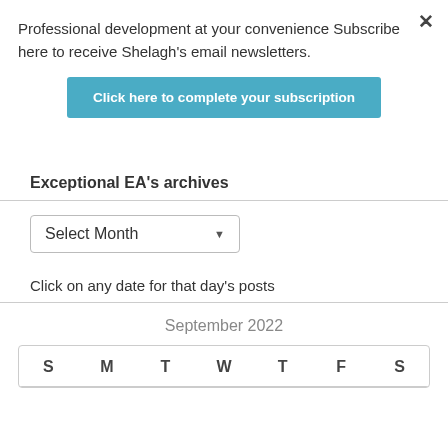Professional development at your convenience Subscribe here to receive Shelagh's email newsletters.
Click here to complete your subscription
Exceptional EA's archives
Select Month
Click on any date for that day's posts
| S | M | T | W | T | F | S |
| --- | --- | --- | --- | --- | --- | --- |